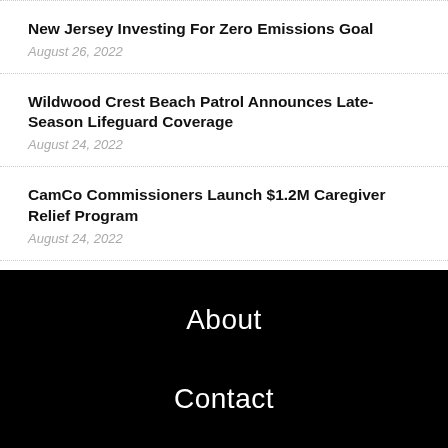New Jersey Investing For Zero Emissions Goal
August 26, 2022
Wildwood Crest Beach Patrol Announces Late-Season Lifeguard Coverage
August 24, 2022
CamCo Commissioners Launch $1.2M Caregiver Relief Program
August 24, 2022
About
Contact